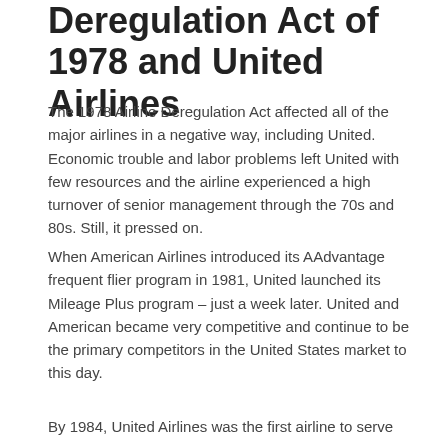Deregulation Act of 1978 and United Airlines
The 1978 Airline Deregulation Act affected all of the major airlines in a negative way, including United. Economic trouble and labor problems left United with few resources and the airline experienced a high turnover of senior management through the 70s and 80s. Still, it pressed on.
When American Airlines introduced its AAdvantage frequent flier program in 1981, United launched its Mileage Plus program – just a week later. United and American became very competitive and continue to be the primary competitors in the United States market to this day.
By 1984, United Airlines was the first airline to serve